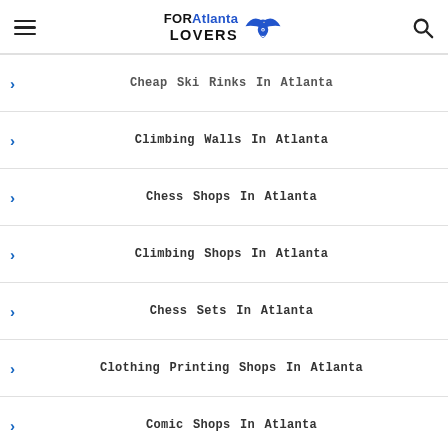FORAtlanta LOVERS
Cheap Ski Rinks In Atlanta
Climbing Walls In Atlanta
Chess Shops In Atlanta
Climbing Shops In Atlanta
Chess Sets In Atlanta
Clothing Printing Shops In Atlanta
Comic Shops In Atlanta
CD Shops In Atlanta
Cheap Copy Shops In Atlanta